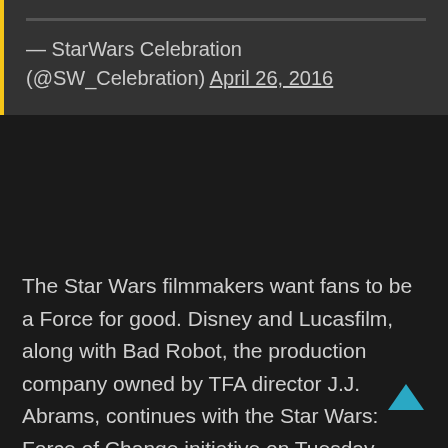— StarWars Celebration (@SW_Celebration) April 26, 2016
The Star Wars filmmakers want fans to be a Force for good. Disney and Lucasfilm, along with Bad Robot, the production company owned by TFA director J.J. Abrams, continues with the Star Wars: Force of Change initiative on Tuesday.